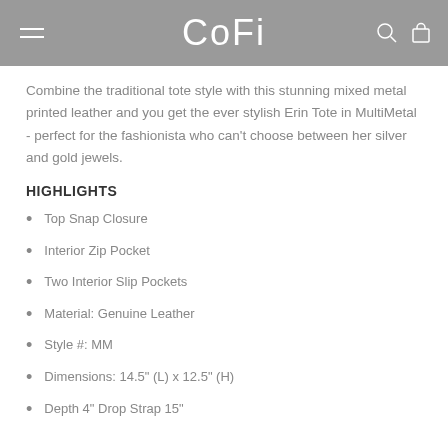CoFi
Combine the traditional tote style with this stunning mixed metal printed leather and you get the ever stylish Erin Tote in MultiMetal - perfect for the fashionista who can't choose between her silver and gold jewels.
HIGHLIGHTS
Top Snap Closure
Interior Zip Pocket
Two Interior Slip Pockets
Material: Genuine Leather
Style #: MM
Dimensions: 14.5" (L) x 12.5" (H)
Depth 4" Drop Strap 15"